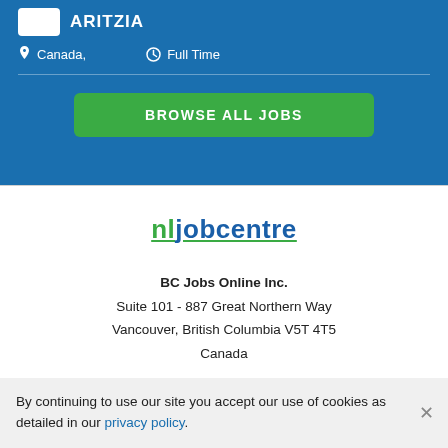ARITZIA
Canada,   Full Time
BROWSE ALL JOBS
[Figure (logo): nljobcentre logo with green and blue text, underlined in green]
BC Jobs Online Inc.
Suite 101 - 887 Great Northern Way
Vancouver, British Columbia V5T 4T5
Canada
By continuing to use our site you accept our use of cookies as detailed in our privacy policy.